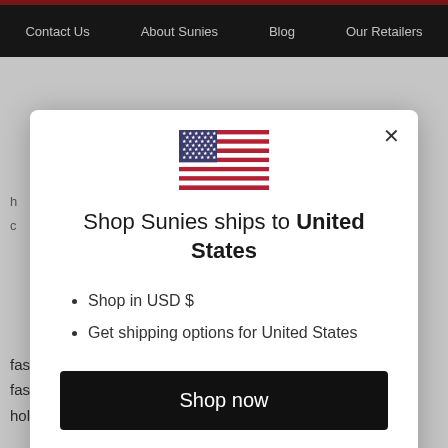Contact Us  About Sunies  Blog  Our Retailers
[Figure (screenshot): US flag emoji SVG inline]
Shop Sunies ships to United States
Shop in USD $
Get shipping options for United States
Shop now
Change shipping country
fashion
fashionista
holidays